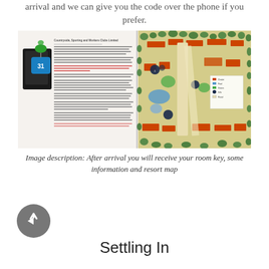arrival and we can give you the code over the phone if you prefer.
[Figure (photo): A photo showing a room key with a blue tag, printed information sheets, and a resort map laid on a white surface.]
Image description: After arrival you will receive your room key, some information and resort map
Settling In